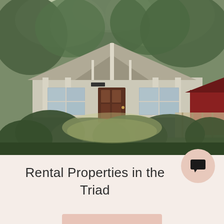[Figure (photo): Photograph of a craftsman-style bungalow house with a covered front porch, white-painted siding, dark wood front door, surrounded by lush green trees and shrubs in the foreground.]
Rental Properties in the Triad